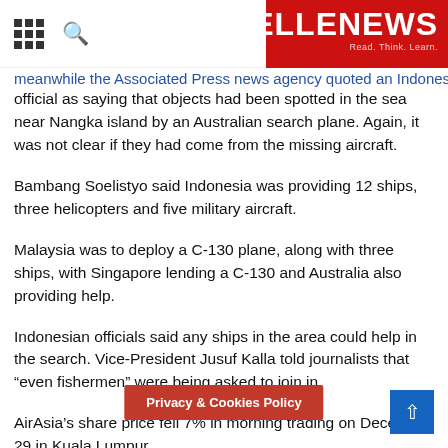BELLENEWS - Read. Think. Learn.
meanwhile the Associated Press news agency quoted an Indonesian official as saying that objects had been spotted in the sea near Nangka island by an Australian search plane. Again, it was not clear if they had come from the missing aircraft.
Bambang Soelistyo said Indonesia was providing 12 ships, three helicopters and five military aircraft.
Malaysia was to deploy a C-130 plane, along with three ships, with Singapore lending a C-130 and Australia also providing help.
Indonesian officials said any ships in the area could help in the search. Vice-President Jusuf Kalla told journalists that “even fishermen” were being asked to join in.
AirAsia’s share price fell 7% in morning trading on December 29 in Kuala Lumpur.
Flight QZ8501 had left Surabaya at about 05.35 on Sunday, December 28, and was due to arrive in Singapore at 08.30.